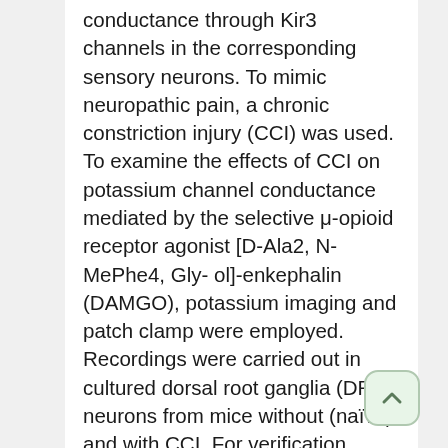conductance through Kir3 channels in the corresponding sensory neurons. To mimic neuropathic pain, a chronic constriction injury (CCI) was used. To examine the effects of CCI on potassium channel conductance mediated by the selective μ-opioid receptor agonist [D-Ala2, N-MePhe4, Gly- ol]-enkephalin (DAMGO), potassium imaging and patch clamp were employed. Recordings were carried out in cultured dorsal root ganglia (DRG) neurons from mice without (naïve) and with CCI. For verification, similar experiments were performed in transfected human embryonic kidney (HEK) 293 cells. Using patch clamp, I successfully measured DAMGO-induced potassium currents, reversible by barium chloride, in μ-opioid receptor and Kir3.2 expressing HEK 293 cells as well as in DRG neurons from naïve and CCI mice. Contrary to our assumption, the DAMGO-induced potassium currents were significantly smaller in